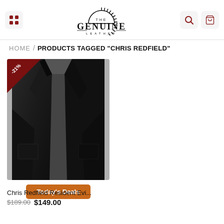[Figure (logo): The Genuine Leather logo with semicircular sunburst above text]
THE GENUINE LEATHER header navigation with hamburger menu, search and cart icons
HOME / PRODUCTS TAGGED "CHRIS REDFIELD"
[Figure (photo): Black wool coat product photo with -21% discount badge and Today's Deals button]
Chris Redfield Resident Evi...
$189.00 $149.00